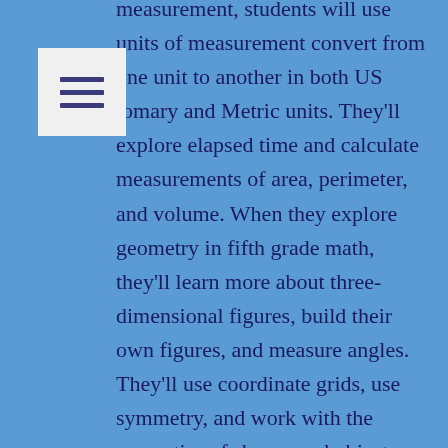measurement, students will use units of measurement convert from one unit to another in both US tomary and Metric units. They'll explore elapsed time and calculate measurements of area, perimeter, and volume. When they explore geometry in fifth grade math, they'll learn more about three-dimensional figures, build their own figures, and measure angles. They'll use coordinate grids, use symmetry, and work with the properties of shapes and objects. Students will continue to work with data and find the mean, median, and mode of a set of data. Algebra includes quite a bit in fifth grade math. Students will practice manipulating numbers and variables and will work with unknown variables. They'll identify and use the numbers and values represented between the whole numbers on the number line and fractions and